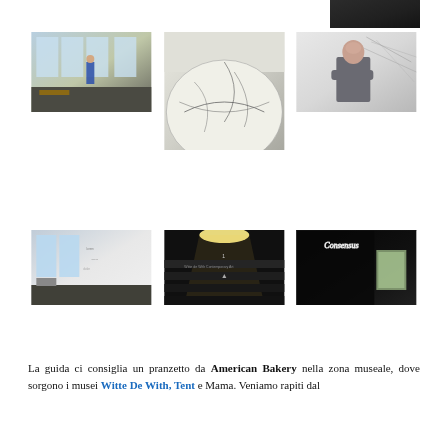[Figure (photo): Dark photo top right corner, partially visible]
[Figure (photo): Interior room with large windows and a person standing, bench visible]
[Figure (photo): Large globe sculpture with pencil sketch drawings on it]
[Figure (photo): Man with arms crossed standing in front of wall with text/drawings]
[Figure (photo): Interior room with large windows and wall writings]
[Figure (photo): Dark staircase with text on steps, lit from above]
[Figure (photo): Dark room with window and neon sign reading Consensus]
La guida ci consiglia un pranzetto da American Bakery nella zona museale, dove sorgono i musei Witte De With, Tent e Mama. Veniamo rapiti dal